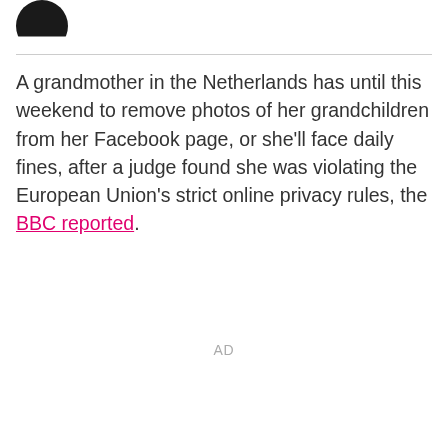[Figure (logo): Partial black circle logo visible at top left, cropped at bottom]
A grandmother in the Netherlands has until this weekend to remove photos of her grandchildren from her Facebook page, or she'll face daily fines, after a judge found she was violating the European Union's strict online privacy rules, the BBC reported.
AD